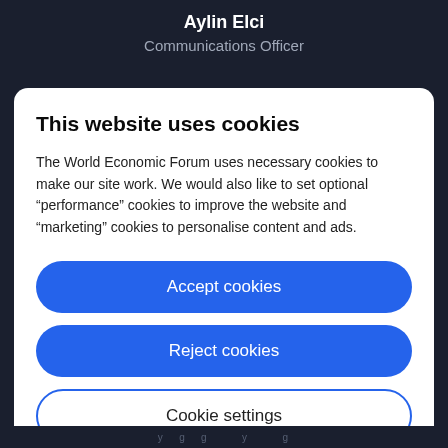Aylin Elci
Communications Officer
This website uses cookies
The World Economic Forum uses necessary cookies to make our site work. We would also like to set optional “performance” cookies to improve the website and “marketing” cookies to personalise content and ads.
Accept cookies
Reject cookies
Cookie settings